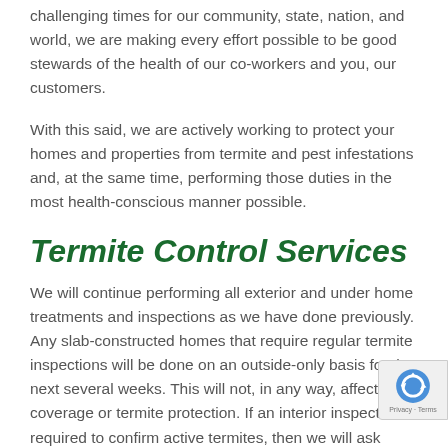challenging times for our community, state, nation, and world, we are making every effort possible to be good stewards of the health of our co-workers and you, our customers.
With this said, we are actively working to protect your homes and properties from termite and pest infestations and, at the same time, performing those duties in the most health-conscious manner possible.
Termite Control Services
We will continue performing all exterior and under home treatments and inspections as we have done previously. Any slab-constructed homes that require regular termite inspections will be done on an outside-only basis for the next several weeks. This will not, in any way, affect your coverage or termite protection. If an interior inspection is required to confirm active termites, then we will ask appropriate health-related questions prior to entering any building and, if customers are exhibiting symptoms,